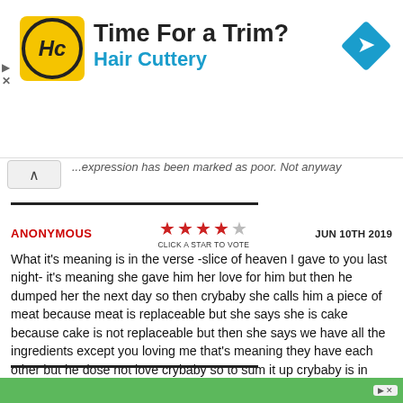[Figure (other): Advertisement banner for Hair Cuttery with logo, text 'Time For a Trim? Hair Cuttery', and a blue navigation arrow icon on the right]
...expression has been marked as poor. Not anyway
ANONYMOUS   ★★★★☆ CLICK A STAR TO VOTE   JUN 10TH 2019
What it's meaning is in the verse -slice of heaven I gave to you last night- it's meaning she gave him her love for him but then he dumped her the next day so then crybaby she calls him a piece of meat because meat is replaceable but she says she is cake because cake is not replaceable but then she says we have all the ingredients except you loving me that's meaning they have each other but he dose not love crybaby so to sum it up crybaby is in love with a boy but he dose not love her back
[Figure (other): Bottom green advertisement bar with ad badge]